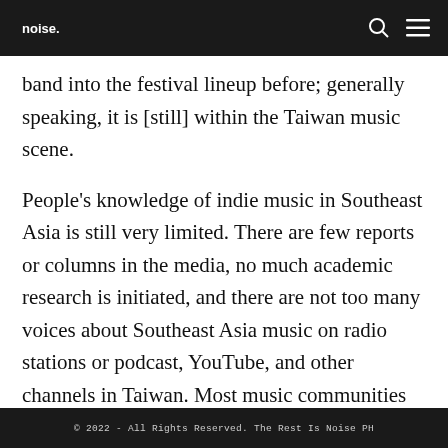noise.
band into the festival lineup before; generally speaking, it is [still] within the Taiwan music scene.
People's knowledge of indie music in Southeast Asia is still very limited. There are few reports or columns in the media, no much academic research is initiated, and there are not too many voices about Southeast Asia music on radio stations or podcast, YouTube, and other channels in Taiwan. Most music communities are still inertial to the local music of Taiwan and the content of China,
© 2022 - All Rights Reserved. The Rest Is Noise PH